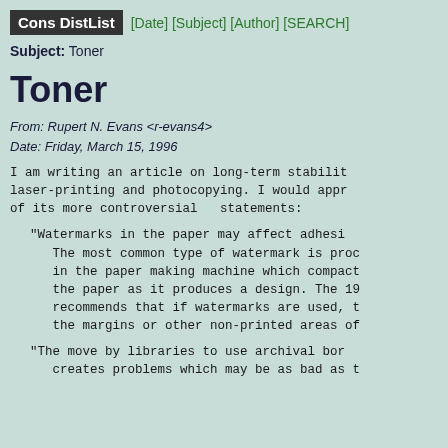Cons DistList [Date] [Subject] [Author] [SEARCH]
Subject: Toner
Toner
From: Rupert N. Evans <r-evans4>
Date: Friday, March 15, 1996
I am writing an article on long-term stabilit laser-printing and photocopying. I would appr of its more controversial  statements:
"Watermarks in the paper may affect adhesi The most common type of watermark is proc in the paper making machine which compact the paper as it produces a design. The 19 recommends that if watermarks are used, t the margins or other non-printed areas of
"The move by libraries to use archival bor creates problems which may be as bad as t